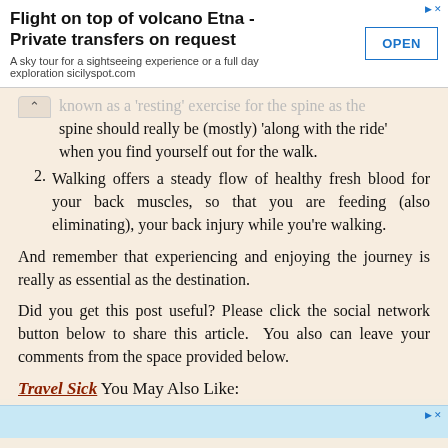[Figure (other): Advertisement banner: 'Flight on top of volcano Etna - Private transfers on request' with OPEN button and arrow icon. Subtitle: 'A sky tour for a sightseeing experience or a full day exploration sicilyspot.com']
known as a 'resting' exercise for the spine as the spine should really be (mostly) 'along with the ride' when you find yourself out for the walk.
2. Walking offers a steady flow of healthy fresh blood for your back muscles, so that you are feeding (also eliminating), your back injury while you're walking.
And remember that experiencing and enjoying the journey is really as essential as the destination.
Did you get this post useful? Please click the social network button below to share this article. You also can leave your comments from the space provided below.
Travel Sick You May Also Like:
[Figure (other): Bottom advertisement banner with light blue background and arrow icon]